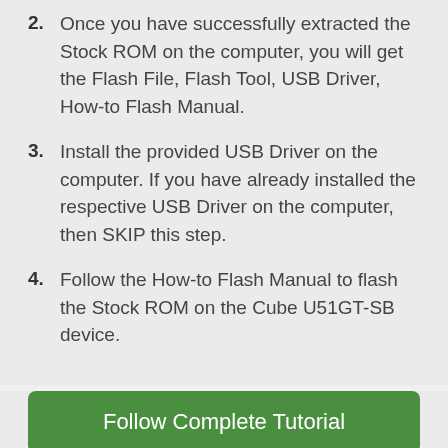2. Once you have successfully extracted the Stock ROM on the computer, you will get the Flash File, Flash Tool, USB Driver, How-to Flash Manual.
3. Install the provided USB Driver on the computer. If you have already installed the respective USB Driver on the computer, then SKIP this step.
4. Follow the How-to Flash Manual to flash the Stock ROM on the Cube U51GT-SB device.
Follow Complete Tutorial
Readme Once:
[*] Flash Tool: If you want to download the latest